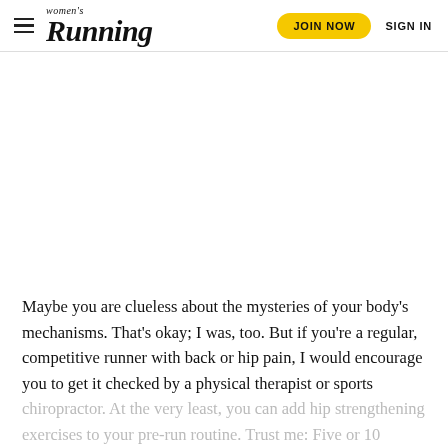women's Running | JOIN NOW | SIGN IN
[Figure (photo): Large white/blank image area below the navigation header]
Maybe you are clueless about the mysteries of your body's mechanisms. That's okay; I was, too. But if you're a regular, competitive runner with back or hip pain, I would encourage you to get it checked by a physical therapist or sports chiropractor. At the very least, you can add hip strengthening exercises to your pre-run routine. Trust me: Five or 10 minutes